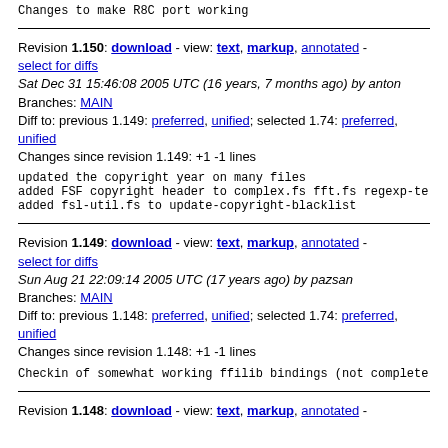Changes since revision 1.150: +3 -1 lines
Changes to make R8C port working
Revision 1.150: download - view: text, markup, annotated - select for diffs
Sat Dec 31 15:46:08 2005 UTC (16 years, 7 months ago) by anton
Branches: MAIN
Diff to: previous 1.149: preferred, unified; selected 1.74: preferred, unified
Changes since revision 1.149: +1 -1 lines
updated the copyright year on many files
added FSF copyright header to complex.fs fft.fs regexp-te
added fsl-util.fs to update-copyright-blacklist
Revision 1.149: download - view: text, markup, annotated - select for diffs
Sun Aug 21 22:09:14 2005 UTC (17 years ago) by pazsan
Branches: MAIN
Diff to: previous 1.148: preferred, unified; selected 1.74: preferred, unified
Changes since revision 1.148: +1 -1 lines
Checkin of somewhat working ffilib bindings (not complete
Revision 1.148: download - view: text, markup, annotated -